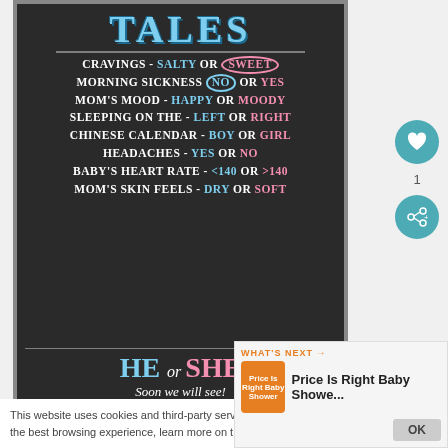[Figure (illustration): Chalkboard-style gender prediction sign with 'TALES' title and list of gender prediction items: CRAVINGS - SALTY or SWEET, MORNING SICKNESS NO or YES, MOM'S MOOD - HAPPY or MOODY, SLEEPING ON THE - LEFT or RIGHT, CHINESE CALENDAR - BOY or GIRL, HEADACHES - YES or NO, BABY'S HEART RATE - <140 or >140, MOM'S SKIN FEELS - DRY or SOFT, HE or SHE Soon we will see!]
This website uses cookies and third-party services to provide you with the best browsing experience, learn more on the disclaimer page.
WHAT'S NEXT → Price Is Right Baby Showe... OK